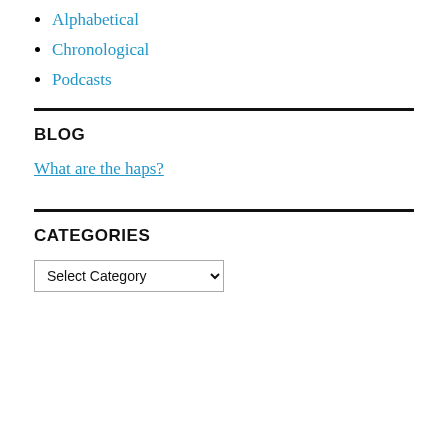Alphabetical
Chronological
Podcasts
BLOG
What are the haps?
CATEGORIES
Select Category